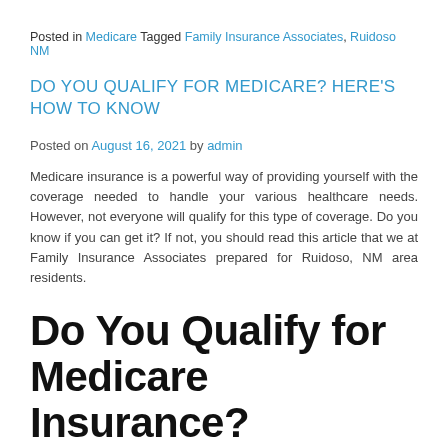Posted in Medicare Tagged Family Insurance Associates, Ruidoso NM
DO YOU QUALIFY FOR MEDICARE? HERE'S HOW TO KNOW
Posted on August 16, 2021 by admin
Medicare insurance is a powerful way of providing yourself with the coverage needed to handle your various healthcare needs. However, not everyone will qualify for this type of coverage. Do you know if you can get it? If not, you should read this article that we at Family Insurance Associates prepared for Ruidoso, NM area residents.
Do You Qualify for Medicare Insurance?